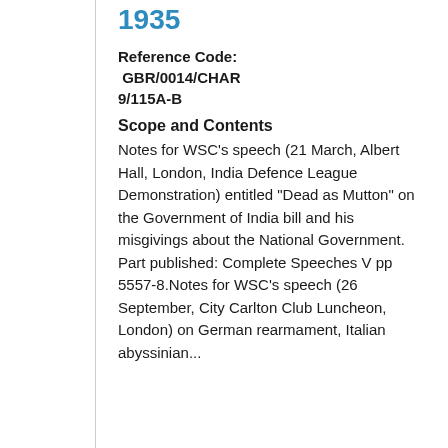1935
Reference Code: GBR/0014/CHAR 9/115A-B
Scope and Contents
Notes for WSC's speech (21 March, Albert Hall, London, India Defence League Demonstration) entitled "Dead as Mutton" on the Government of India bill and his misgivings about the National Government. Part published: Complete Speeches V pp 5557-8.Notes for WSC's speech (26 September, City Carlton Club Luncheon, London) on German rearmament, Italian abyssinian...